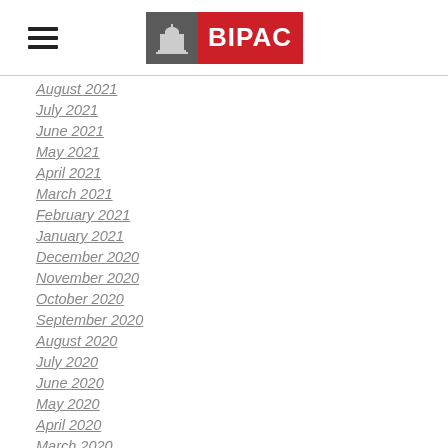[Figure (logo): BIPAC logo with gray capitol building icon and red background with white BIPAC text]
August 2021
July 2021
June 2021
May 2021
April 2021
March 2021
February 2021
January 2021
December 2020
November 2020
October 2020
September 2020
August 2020
July 2020
June 2020
May 2020
April 2020
March 2020